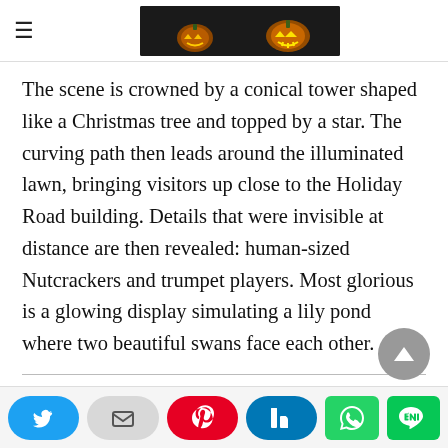≡ [Halloween pumpkins banner image]
The scene is crowned by a conical tower shaped like a Christmas tree and topped by a star. The curving path then leads around the illuminated lawn, bringing visitors up close to the Holiday Road building. Details that were invisible at distance are then revealed: human-sized Nutcrackers and trumpet players. Most glorious is a glowing display simulating a lily pond where two beautiful swans face each other.
Holiday Road 2021: North and South Poles meet